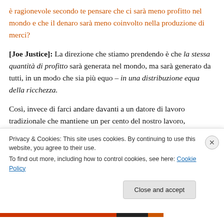è ragionevole secondo te pensare che ci sarà meno profitto nel mondo e che il denaro sarà meno coinvolto nella produzione di merci?
[Joe Justice]: La direzione che stiamo prendendo è che la stessa quantità di profitto sarà generata nel mondo, ma sarà generato da tutti, in un modo che sia più equo – in una distribuzione equa della ricchezza.
Così, invece di farci andare davanti a un datore di lavoro tradizionale che mantiene un per cento del nostro lavoro,
Privacy & Cookies: This site uses cookies. By continuing to use this website, you agree to their use.
To find out more, including how to control cookies, see here: Cookie Policy